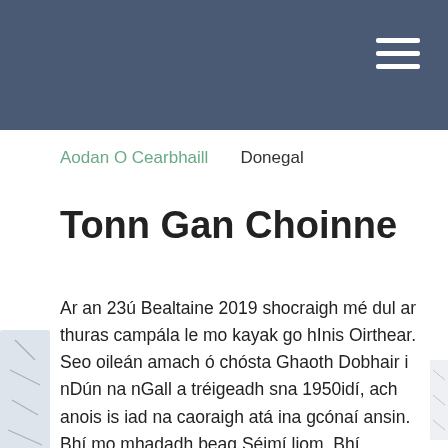Aodan O Cearbhaill    Donegal
Tonn Gan Choinne
Ar an 23ú Bealtaine 2019 shocraigh mé dul ar thuras campála le mo kayak go hInis Oirthear.
Seo oileán amach ó chósta Ghaoth Dobhair i nDún na nGall a tréigeadh sna 1950idí, ach anois is iad na caoraigh atá ina gcónaí ansin.
Bhí mo mhadadh beag Séimí liom. Bhí seaicéad tarrthála liom. Chuir mé m'fhón póca i mála beag uiscedhíonach. Bhí adhastar agus téad ar Shéimí agus bhí